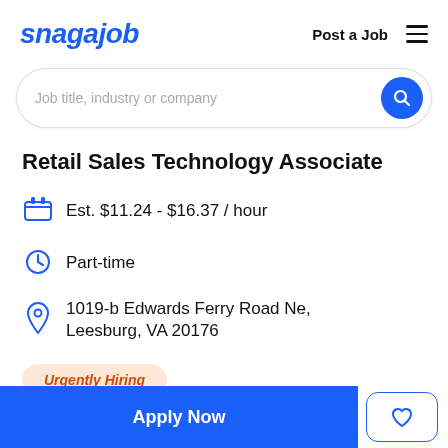snagajob — Post a Job ≡
Job title, industry or company
Retail Sales Technology Associate
Est. $11.24 - $16.37 / hour
Part-time
1019-b Edwards Ferry Road Ne, Leesburg, VA 20176
Urgently Hiring
Apply Now